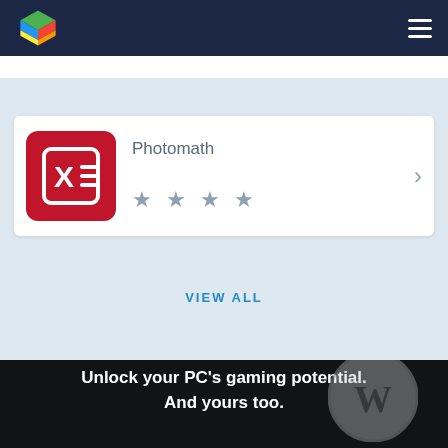BlueStacks
[Figure (logo): BlueStacks colorful cube logo on dark navy header bar]
[Figure (screenshot): Photomath app card with red icon featuring X= symbol, app name 'Photomath', three grey stars, and chevron arrow]
VIEW ALL
Unlock your PC's gaming potential. And yours too.